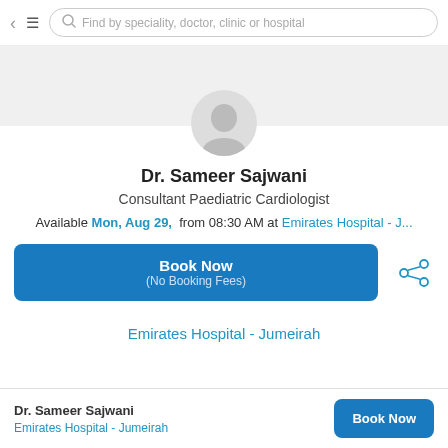Find by speciality, doctor, clinic or hospital
[Figure (illustration): Doctor profile avatar silhouette on grey background]
Dr. Sameer Sajwani
Consultant Paediatric Cardiologist
Available Mon, Aug 29,  from 08:30 AM at Emirates Hospital - J...
Book Now
(No Booking Fees)
Emirates Hospital - Jumeirah
Dr. Sameer Sajwani
Emirates Hospital - Jumeirah
Book Now